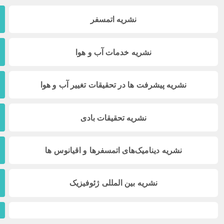نشریه اتمسفر
نشریه خدمات آب و هوا
نشریه پیشرفت ها در تحقیقات تغییر آب و هوا
نشریه تحقیقات بادی
نشریه دینامیک‌های اتمسفرها و اقیانوس ها
نشریه بین المللی ژئوفیزیک